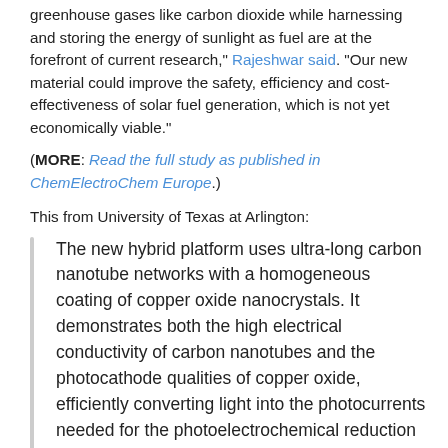greenhouse gases like carbon dioxide while harnessing and storing the energy of sunlight as fuel are at the forefront of current research," Rajeshwar said. "Our new material could improve the safety, efficiency and cost-effectiveness of solar fuel generation, which is not yet economically viable."
(MORE: Read the full study as published in ChemElectroChem Europe.)
This from University of Texas at Arlington:
The new hybrid platform uses ultra-long carbon nanotube networks with a homogeneous coating of copper oxide nanocrystals. It demonstrates both the high electrical conductivity of carbon nanotubes and the photocathode qualities of copper oxide, efficiently converting light into the photocurrents needed for the photoelectrochemical reduction process.